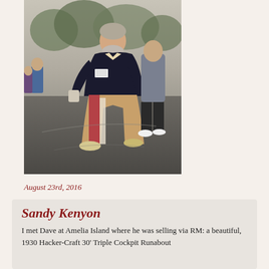[Figure (photo): A man in a dark blazer and colorful red and khaki wide-leg pants standing outdoors at an event, smiling, with other people visible in the background.]
August 23rd, 2016
Sandy Kenyon
I met Dave at Amelia Island where he was selling via RM: a beautiful, 1930 Hacker-Craft 30' Triple Cockpit Runabout